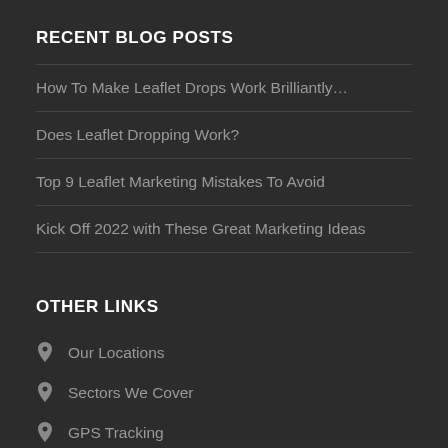RECENT BLOG POSTS
How To Make Leaflet Drops Work Brilliantly…
Does Leaflet Dropping Work?
Top 9 Leaflet Marketing Mistakes To Avoid
Kick Off 2022 with These Great Marketing Ideas
OTHER LINKS
Our Locations
Sectors We Cover
GPS Tracking
Tools & Advice